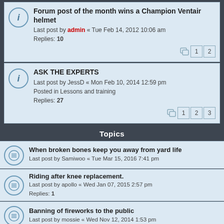Forum post of the month wins a Champion Ventair helmet
Last post by admin « Tue Feb 14, 2012 10:06 am
Replies: 10
ASK THE EXPERTS
Last post by JessD « Mon Feb 10, 2014 12:59 pm
Posted in Lessons and training
Replies: 27
Topics
When broken bones keep you away from yard life
Last post by Samiwoo « Tue Mar 15, 2016 7:41 pm
Riding after knee replacement.
Last post by apollo « Wed Jan 07, 2015 2:57 pm
Replies: 1
Banning of fireworks to the public
Last post by mossie « Wed Nov 12, 2014 1:53 pm
Shetlands
Last post by Bonkers Tonkers « Thu Oct 02, 2014 10:45 am
Replies: 4
DRESSAGE QUESTIONNAIRE - Investigative Project
Last post by CounterCanter « Wed Aug 14, 2013 10:19 am
Replies: 3
Bridleways
Last post by MayAndPetit « Sat Aug 03, 2013 8:36 pm